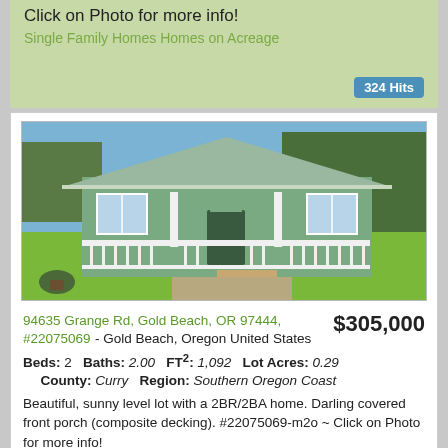Click on Photo for more info!
Single Family Homes Homes on Acreage
324 Hits
[Figure (photo): Single family home with covered front porch and white railings, green lawn, trees in background, sunny day]
94635 Grange Rd, Gold Beach, OR 97444, #22075069 - Gold Beach, Oregon United States
$305,000
Beds: 2   Baths: 2.00   FT²: 1,092   Lot Acres: 0.29
County: Curry   Region: Southern Oregon Coast
Beautiful, sunny level lot with a 2BR/2BA home. Darling covered front porch (composite decking). #22075069-m2o ~ Click on Photo for more info!
Single Family Homes